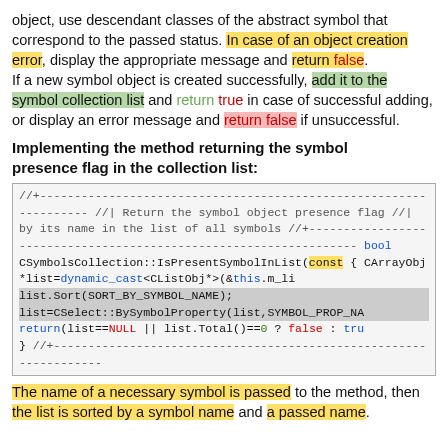object, use descendant classes of the abstract symbol that correspond to the passed status. In case of an object creation error, display the appropriate message and return false. If a new symbol object is created successfully, add it to the symbol collection list and return true in case of successful adding, or display an error message and return false if unsuccessful.
Implementing the method returning the symbol presence flag in the collection list:
[Figure (screenshot): Code block showing C++ implementation of IsPresentSymbolInList method with comments, highlighting on const keyword, dynamic_cast, list.Sort, list=CSelect::BySymbolProperty, and return statement with NULL/false/true keywords highlighted.]
The name of a necessary symbol is passed to the method, then the list is sorted by a symbol name and a passed name.